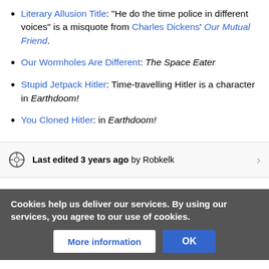Literary Allusion Title: "He do the time police in different voices" is a misquote from Charles Dickens' Our Mutual Friend.
Our Wormholes Are Different: The Space Eater
Stupid Jetpack Hitler: Time-travelling Hitler is a character in Earthdoom!
You Cloned Hitler: in Earthdoom!
Last edited 3 years ago by Robkelk
Cookies help us deliver our services. By using our services, you agree to our use of cookies.